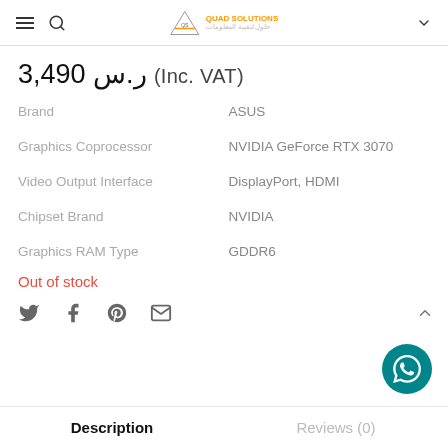Quad Solutions header navigation
ر.س 3,490 (Inc. VAT)
| Attribute | Value |
| --- | --- |
| Brand | ASUS |
| Graphics Coprocessor | NVIDIA GeForce RTX 3070 |
| Video Output Interface | DisplayPort, HDMI |
| Chipset Brand | NVIDIA |
| Graphics RAM Type | GDDR6 |
Out of stock
Social sharing icons: Twitter, Facebook, Pinterest, Email
Description   Reviews (0)